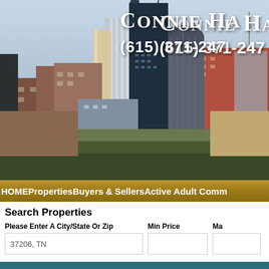[Figure (photo): Nashville skyline cityscape with AT&T Batman building and other skyscrapers against a blue-grey sky, with foreground of green field and brick buildings]
CONNIE HA... (615) 371-247...
HOMEPropertiesBuyers & SellersActive Adult Comm...
Search Properties
Please Enter A City/State Or Zip  Min Price  Ma...
37206, TN